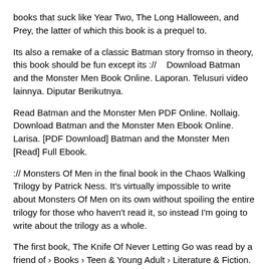books that suck like Year Two, The Long Halloween, and Prey, the latter of which this book is a prequel to.
Its also a remake of a classic Batman story fromso in theory, this book should be fun except its ://    Download Batman and the Monster Men Book Online. Laporan. Telusuri video lainnya. Diputar Berikutnya.
Read Batman and the Monster Men PDF Online. Nollaig. Download Batman and the Monster Men Ebook Online. Larisa. [PDF Download] Batman and the Monster Men [Read] Full Ebook.
:// Monsters Of Men in the final book in the Chaos Walking Trilogy by Patrick Ness. It's virtually impossible to write about Monsters Of Men on its own without spoiling the entire trilogy for those who haven't read it, so instead I'm going to write about the trilogy as a whole.
The first book, The Knife Of Never Letting Go was read by a friend of › Books › Teen & Young Adult › Literature & Fiction. Batman and the Monster Men■■■ (■■ ■) ■■■■■ ■■■■■■■■■■■■■■■■■■■■■■■■■■■■■■■■■■■■■■■■■■■■■■■■■■■■■■■■■■■■■■■■■■■■■■■■■■ ■■■■ Free download or read online Monsters of Men pdf (ePUB) (Chaos Walking Series) book.